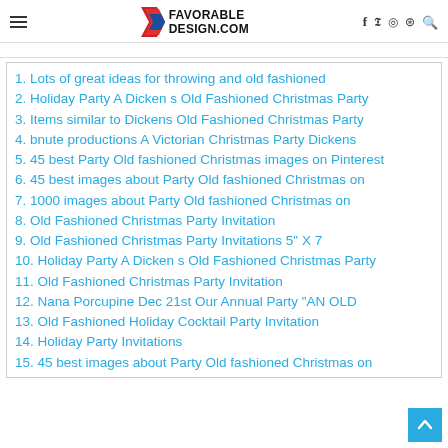FAVORABLE DESIGN.COM
1. Lots of great ideas for throwing and old fashioned
2. Holiday Party A Dicken s Old Fashioned Christmas Party
3. Items similar to Dickens Old Fashioned Christmas Party
4. bnute productions A Victorian Christmas Party Dickens
5. 45 best Party Old fashioned Christmas images on Pinterest
6. 45 best images about Party Old fashioned Christmas on
7. 1000 images about Party Old fashioned Christmas on
8. Old Fashioned Christmas Party Invitation
9. Old Fashioned Christmas Party Invitations 5" X 7
10. Holiday Party A Dicken s Old Fashioned Christmas Party
11. Old Fashioned Christmas Party Invitation
12. Nana Porcupine Dec 21st Our Annual Party "AN OLD
13. Old Fashioned Holiday Cocktail Party Invitation
14. Holiday Party Invitations
15. 45 best images about Party Old fashioned Christmas on